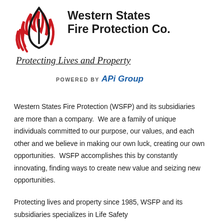[Figure (logo): Western States Fire Protection Co. logo with flame/water drop symbol in red and dark gray, tagline 'Protecting Lives and Property' in italic script with underline, and 'POWERED BY APi Group' below]
Western States Fire Protection (WSFP) and its subsidiaries are more than a company.  We are a family of unique individuals committed to our purpose, our values, and each other and we believe in making our own luck, creating our own opportunities.  WSFP accomplishes this by constantly innovating, finding ways to create new value and seizing new opportunities.
Protecting lives and property since 1985, WSFP and its subsidiaries specializes in Life Safety